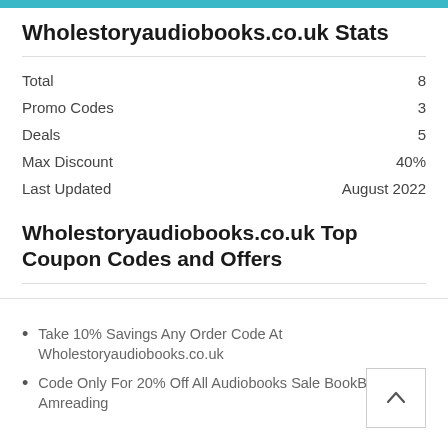Wholestoryaudiobooks.co.uk Stats
|  |  |
| --- | --- |
| Total | 8 |
| Promo Codes | 3 |
| Deals | 5 |
| Max Discount | 40% |
| Last Updated | August 2022 |
Wholestoryaudiobooks.co.uk Top Coupon Codes and Offers
Take 10% Savings Any Order Code At Wholestoryaudiobooks.co.uk
Code Only For 20% Off All Audiobooks Sale BookBoost Amreading